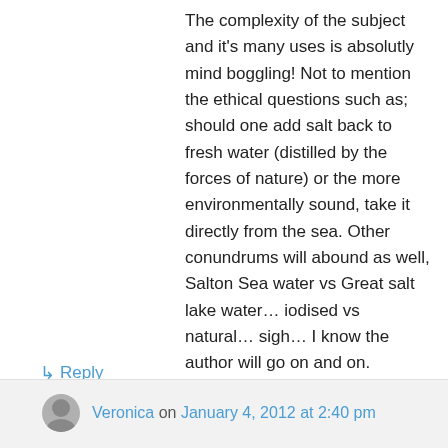The complexity of the subject and it's many uses is absolutly mind boggling! Not to mention the ethical questions such as; should one add salt back to fresh water (distilled by the forces of nature) or the more environmentally sound, take it directly from the sea. Other conundrums will abound as well, Salton Sea water vs Great salt lake water… iodised vs natural… sigh… I know the author will go on and on.

Respectfully

Dewey
★ Like
↳ Reply
Veronica on January 4, 2012 at 2:40 pm